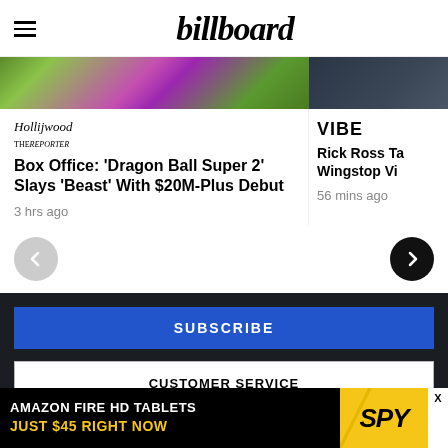billboard
[Figure (photo): Colorful image strip showing two partial article thumbnails — left side with green and purple hues, right side with dark blue/navy tones]
The Hollywood Reporter
VIBE
Box Office: ‘Dragon Ball Super 2’ Slays ‘Beast’ With $20M-Plus Debut
Rick Ross Ta… Wingstop Vi…
3 hrs ago
56 mins ago
SUBSCRIBE
CUSTOMER SERVICE
[Figure (infographic): Advertisement banner: AMAZON FIRE HD TABLETS / JUST $45 RIGHT NOW with SPY logo on yellow background]